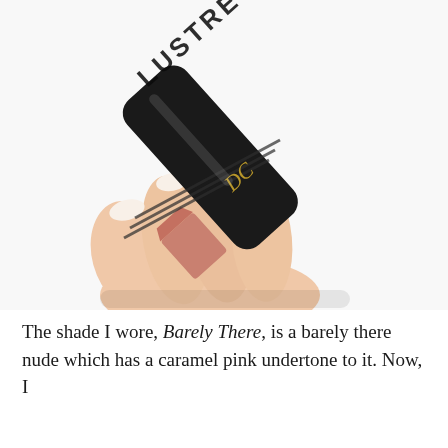[Figure (photo): A hand holding a black cylindrical lipstick tube with 'LUSTRE' embossed text and a gold logo, revealing a nude/coral pink lipstick bullet underneath. White background.]
The shade I wore, Barely There, is a barely there nude which has a caramel pink undertone to it. Now, I